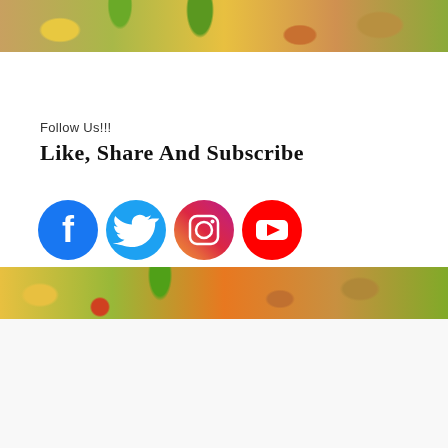[Figure (photo): Top banner with colorful vegetables background]
Follow Us!!!
Like, Share And Subscribe
[Figure (illustration): Social media icons: Facebook, Twitter, Instagram, YouTube]
[Figure (photo): Middle banner with colorful vegetables background]
Categories
Beverages
Biscuits/Cookies
Cake
Chapati/Roti
Desserts/Puddings